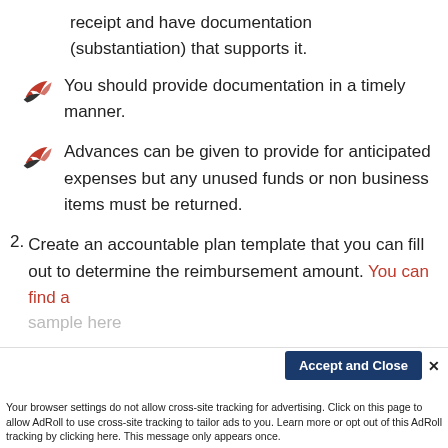receipt and have documentation (substantiation) that supports it.
You should provide documentation in a timely manner.
Advances can be given to provide for anticipated expenses but any unused funds or non business items must be returned.
2. Create an accountable plan template that you can fill out to determine the reimbursement amount. You can find a
sample here
Accept and Close ×
Your browser settings do not allow cross-site tracking for advertising. Click on this page to allow AdRoll to use cross-site tracking to tailor ads to you. Learn more or opt out of this AdRoll tracking by clicking here. This message only appears once.